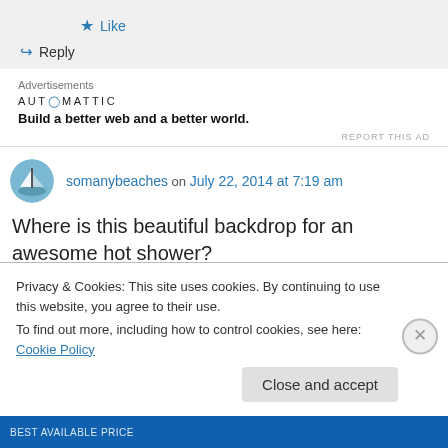★ Like
↪ Reply
Advertisements
AUTOMATTIC
Build a better web and a better world.
REPORT THIS AD
somanybeaches on July 22, 2014 at 7:19 am
Where is this beautiful backdrop for an awesome hot shower?
Privacy & Cookies: This site uses cookies. By continuing to use this website, you agree to their use.
To find out more, including how to control cookies, see here: Cookie Policy
Close and accept